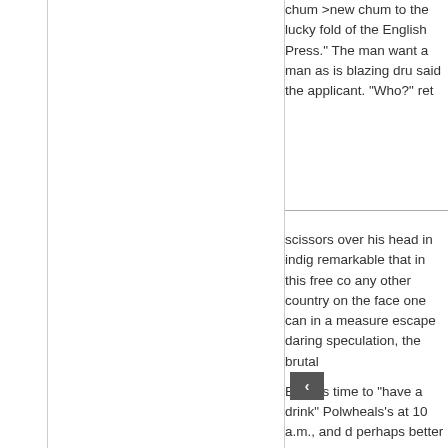chum >new chum to the lucky fold of the English Press." The man want a man as is blazing dru said the applicant. "Who?" ret
scissors over his head in indig remarkable that in this free co any other country on the face one can in a measure escape daring speculation, the brutal
But it is time to “have a drink” Polwheals’s at 10 a.m., and d perhaps better for us, but we
To sum up the jollity of Grumb